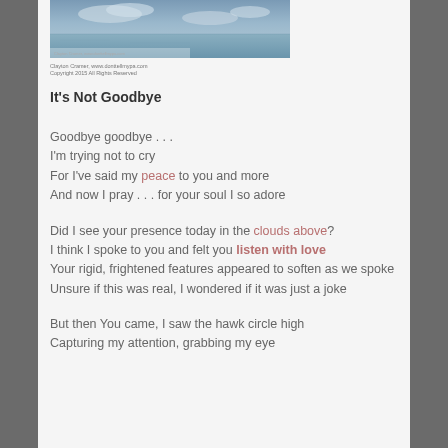[Figure (photo): A photograph of a seascape or ocean scene with clouds, with a small caption/credit text below it.]
It's Not Goodbye
Goodbye goodbye . . .
I'm trying not to cry
For I've said my peace to you and more
And now I pray . . . for your soul I so adore
Did I see your presence today in the clouds above?
I think I spoke to you and felt you listen with love
Your rigid, frightened features appeared to soften as we spoke
Unsure if this was real, I wondered if it was just a joke
But then You came, I saw the hawk circle high
Capturing my attention, grabbing my eye